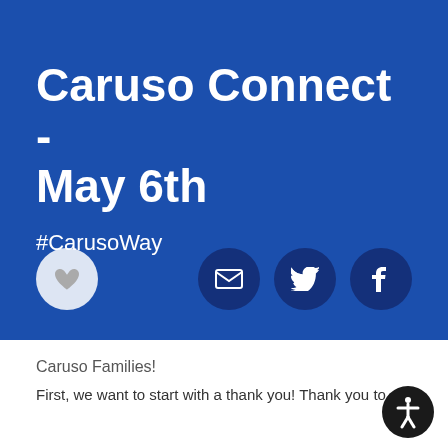[Figure (infographic): Blue banner with title 'Caruso Connect - May 6th', hashtag '#CarusoWay', a heart like button on the left, and social share icons (email, Twitter, Facebook) on the right.]
Caruso Families!
First, we want to start with a thank you! Thank you to